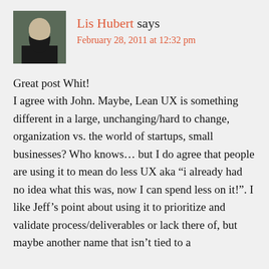Lis Hubert says — February 28, 2011 at 12:32 pm
Great post Whit!
I agree with John. Maybe, Lean UX is something different in a large, unchanging/hard to change, organization vs. the world of startups, small businesses? Who knows… but I do agree that people are using it to mean do less UX aka “i already had no idea what this was, now I can spend less on it!”. I like Jeff’s point about using it to prioritize and validate process/deliverables or lack there of, but maybe another name that isn’t tied to a development methodology might be a start.